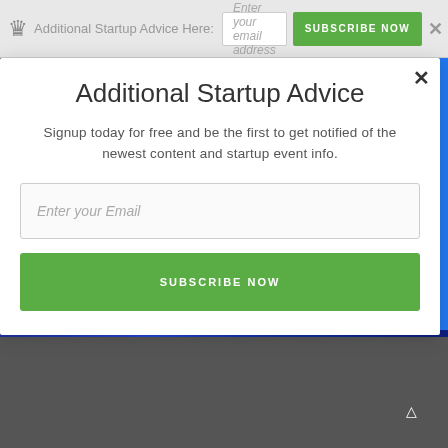Additional Startup Advice Here:
Additional Startup Advice
Signup today for free and be the first to get notified of the newest content and startup event info.
[Figure (screenshot): Email subscription modal with input field and Subscribe Now button on a website about startup advice. Below the modal is a photo of a construction site with a blue safety banner reading 'Incident & Injury Free' and Bovis Lend Lease logo.]